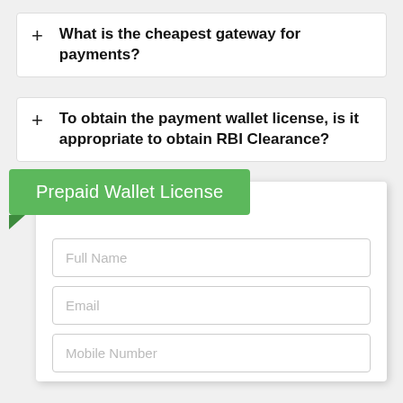What is the cheapest gateway for payments?
To obtain the payment wallet license, is it appropriate to obtain RBI Clearance?
Prepaid Wallet License
Full Name
Email
Mobile Number